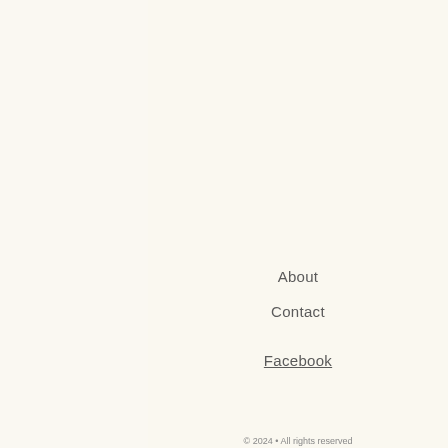About
Contact
Facebook
© 2024 • All rights reserved